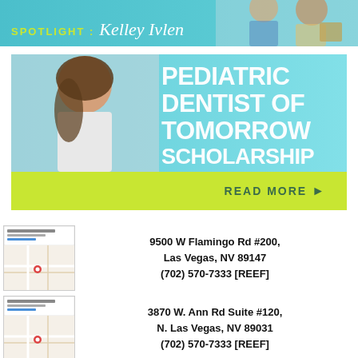[Figure (photo): Spotlight banner with teal background, text 'SPOTLIGHT: Kelley Ivlen' and a photo of a woman in the upper right]
[Figure (infographic): Pediatric Dentist of Tomorrow Scholarship ad with teal background, woman smiling, large text 'PEDIATRIC DENTIST OF TOMORROW SCHOLARSHIP', subtitle 'SERVING OUR COMMUNITY ONE STUDENT AT A TIME', and a green bar with 'READ MORE >']
[Figure (map): Google Maps thumbnail showing location at 9500 W Flamingo Rd #200, Las Vegas]
9500 W Flamingo Rd #200,
Las Vegas, NV 89147
(702) 570-7333 [REEF]
[Figure (map): Google Maps thumbnail showing location at 3870 W. Ann Rd Suite #120, N. Las Vegas]
3870 W. Ann Rd Suite #120,
N. Las Vegas, NV 89031
(702) 570-7333 [REEF]